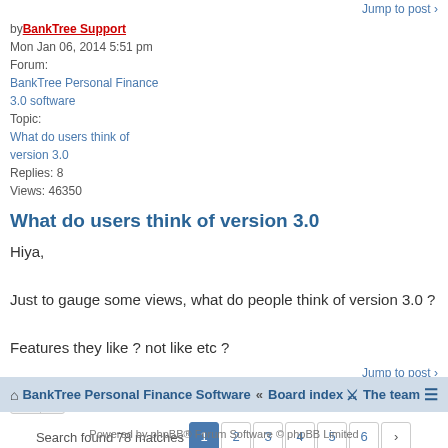Jump to post ›
by BankTree Support
Mon Jan 06, 2014 5:51 pm
Forum:
BankTree Personal Finance 3.0 software
Topic:
What do users think of version 3.0
Replies: 8
Views: 46350
What do users think of version 3.0
Hiya,

Just to gauge some views, what do people think of version 3.0 ?

Features they like ? not like etc ?
Jump to post ›
Search found 78 matches — pages 1 2 3 4 5 6 >
Jump to
BankTree Personal Finance Software « Board index  The team
Powered by phpBB® Forum Software © phpBB Limited